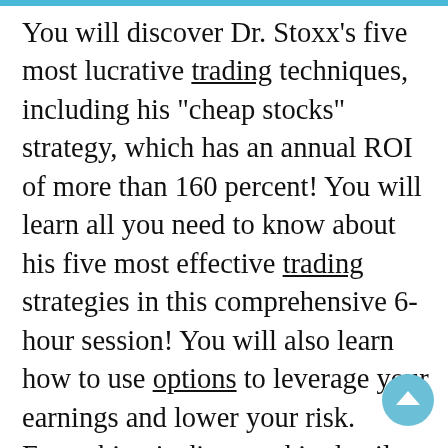You will discover Dr. Stoxx’s five most lucrative trading techniques, including his “cheap stocks” strategy, which has an annual ROI of more than 160 percent! You will learn all you need to know about his five most effective trading strategies in this comprehensive 6-hour session! You will also learn how to use options to leverage your earnings and lower your risk. Everything is discussed in detail.
You’ll be able to watch how Dr. Stoxx enters his trades and what he looks for in a stock. You’ll also get the chance to ask him